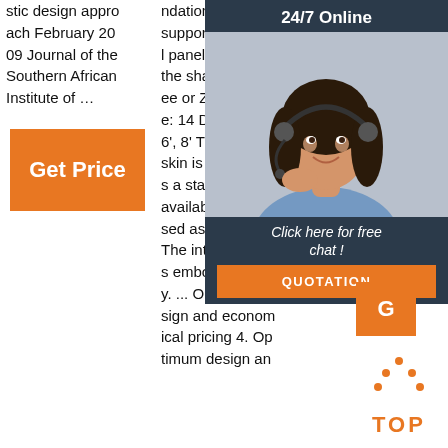stic design approach February 2009 Journal of the Southern African Institute of …
[Figure (other): Orange 'Get Price' button]
ndation ... which supports roof wall panels and is in the shape of a Cee or Zee. Guage: 14 Depth: 4', 6', 8' The exterior skin is smooth as a standard and available embossed as an option. The interior skin is embossed only. ... Optimum design and economical pricing 4. Optimum design an
ent & support products to the underground coal & metalliferous mining also port odu a-P
[Figure (other): 24/7 Online chat widget with woman wearing headset, 'Click here for free chat!' text, and orange QUOTATION button]
[Figure (other): Orange G button]
[Figure (other): Orange TOP arrow icon with TOP label at bottom right]